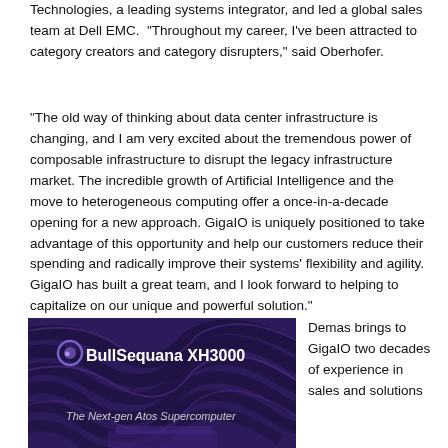Technologies, a leading systems integrator, and led a global sales team at Dell EMC.  "Throughout my career, I've been attracted to category creators and category disrupters," said Oberhofer.
"The old way of thinking about data center infrastructure is changing, and I am very excited about the tremendous power of composable infrastructure to disrupt the legacy infrastructure market. The incredible growth of Artificial Intelligence and the move to heterogeneous computing offer a once-in-a-decade opening for a new approach. GigaIO is uniquely positioned to take advantage of this opportunity and help our customers reduce their spending and radically improve their systems' flexibility and agility. GigaIO has built a great team, and I look forward to helping to capitalize on our unique and powerful solution."
[Figure (photo): BullSequana XH3000 advertisement image with dark purple swirling background. Large white bold text reads 'BullSequana XH3000' with Atos logo, and italic subtitle 'The Next-gen Atos Supercomputer'.]
Demas brings to GigaIO two decades of experience in sales and solutions